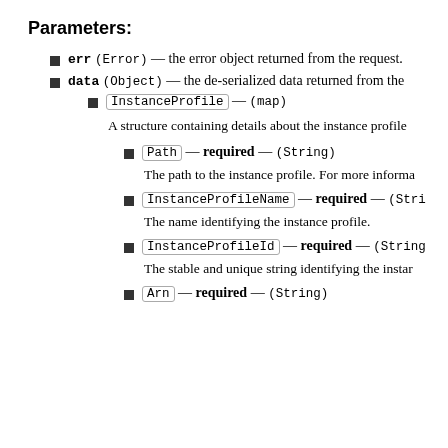Parameters:
err (Error) — the error object returned from the request.
data (Object) — the de-serialized data returned from the
InstanceProfile — (map)
A structure containing details about the instance profile
Path — required — (String)
The path to the instance profile. For more informa
InstanceProfileName — required — (Stri
The name identifying the instance profile.
InstanceProfileId — required — (String
The stable and unique string identifying the instar
Arn — required — (String)